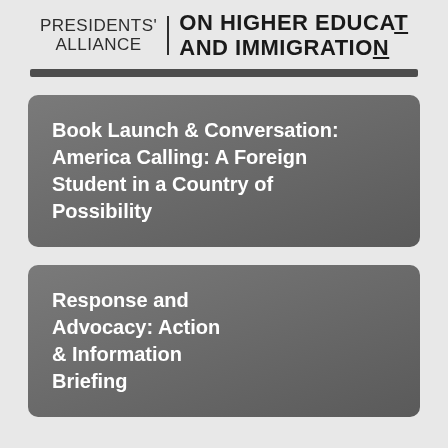PRESIDENTS' ALLIANCE | ON HIGHER EDUCATION AND IMMIGRATION
Book Launch & Conversation: America Calling: A Foreign Student in a Country of Possibility
Response and Advocacy: Action & Information Briefing